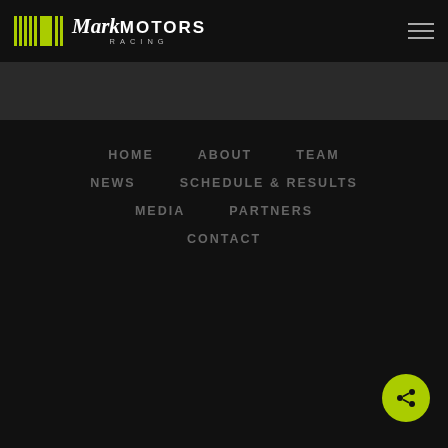Mark Motors Racing
HOME
ABOUT
TEAM
NEWS
SCHEDULE & RESULTS
MEDIA
PARTNERS
CONTACT